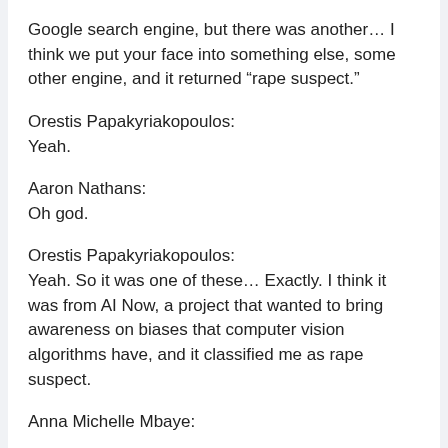Google search engine, but there was another… I think we put your face into something else, some other engine, and it returned “rape suspect.”
Orestis Papakyriakopoulos:
Yeah.
Aaron Nathans:
Oh god.
Orestis Papakyriakopoulos:
Yeah. So it was one of these… Exactly. I think it was from AI Now, a project that wanted to bring awareness on biases that computer vision algorithms have, and it classified me as rape suspect.
Anna Michelle Mbaye: